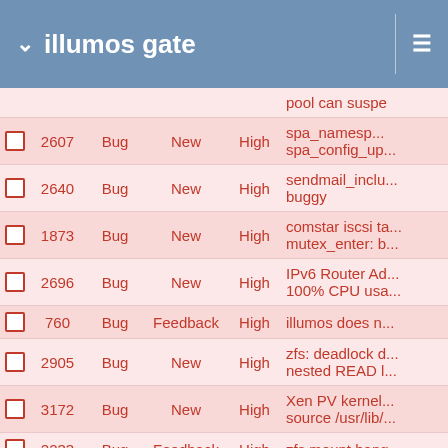illumos gate
|  | ID | Type | Status | Priority | Description |
| --- | --- | --- | --- | --- | --- |
|  |  |  |  |  | pool can suspe... |
| ☐ | 2607 | Bug | New | High | spa_namesp... spa_config_up... |
| ☐ | 2640 | Bug | New | High | sendmail_inclu... buggy |
| ☐ | 1873 | Bug | New | High | comstar iscsi t... mutex_enter: b... |
| ☐ | 2696 | Bug | New | High | IPv6 Router Ad... 100% CPU usa... |
| ☐ | 760 | Bug | Feedback | High | illumos does n... |
| ☐ | 2905 | Bug | New | High | zfs: deadlock d... nested READ l... |
| ☐ | 3172 | Bug | New | High | Xen PV kernel... source /usr/lib/... |
| ☐ | 2233 | Bug | Feedback | High | zfs mount hang... |
| ☐ | 2252 | Bug | In Progress | High | gettext should... |
| ☐ |  | Bug | New | High | savecore fails:... |